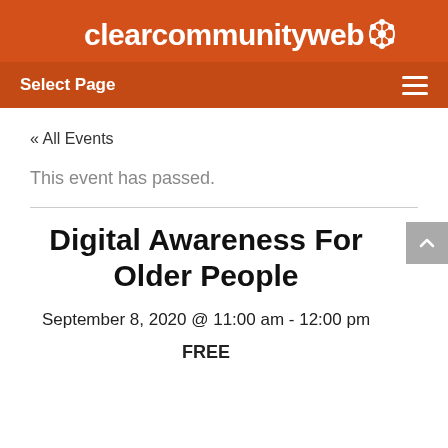clearcommunityweb
Select Page
« All Events
This event has passed.
Digital Awareness For Older People
September 8, 2020 @ 11:00 am - 12:00 pm
FREE